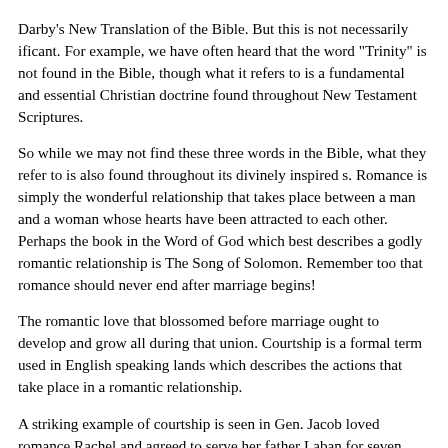Darby's New Translation of the Bible. But this is not necessarily ificant. For example, we have often heard that the word "Trinity" is not found in the Bible, though what it refers to is a fundamental and essential Christian doctrine found throughout New Testament Scriptures.
So while we may not find these three words in the Bible, what they refer to is also found throughout its divinely inspired s. Romance is simply the wonderful relationship that takes place between a man and a woman whose hearts have been attracted to each other. Perhaps the book in the Word of God which best describes a godly romantic relationship is The Song of Solomon. Remember too that romance should never end after marriage begins!
The romantic love that blossomed before marriage ought to develop and grow all during that union. Courtship is a formal term used in English speaking lands which describes the actions that take place in a romantic relationship.
A striking example of courtship is seen in Gen. Jacob loved romance Rachel and agreed to serve her father Laban for seven years courtship to have her as his wife. We don't think of courting in our Western society as work—but that was what it meant in the culture in which Jacob and Rachel lived! Dating is really just another, more commonly used word for courtship. We might also